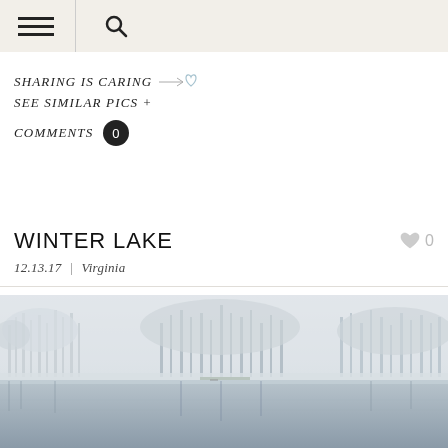Navigation bar with hamburger menu and search icon
SHARING IS CARING →♡
SEE SIMILAR PICS +
COMMENTS 0
WINTER LAKE
12.13.17 | Virginia
[Figure (photo): Winter lake landscape with snow-covered trees reflecting in still water, muted grey-white tones, bare deciduous trees covered in frost/snow lining the far shore]